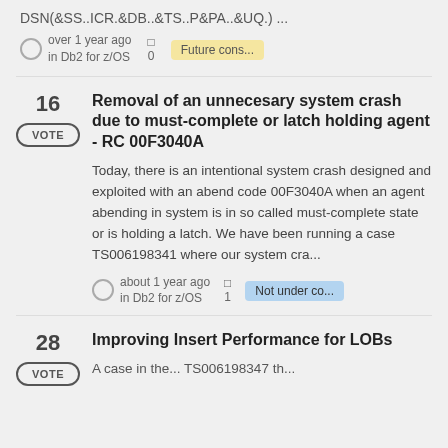DSN(&SS..ICR.&DB..&TS..P&PA..&UQ.) ...
over 1 year ago in Db2 for z/OS
Future cons...
Removal of an unnecesary system crash due to must-complete or latch holding agent - RC 00F3040A
Today, there is an intentional system crash designed and exploited with an abend code 00F3040A when an agent abending in system is in so called must-complete state or is holding a latch. We have been running a case TS006198341 where our system cra...
about 1 year ago in Db2 for z/OS
Not under co...
Improving Insert Performance for LOBs